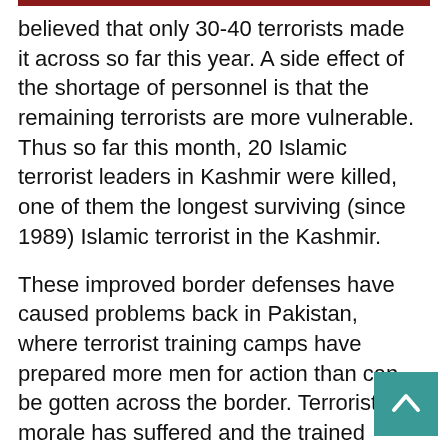believed that only 30-40 terrorists made it across so far this year. A side effect of the shortage of personnel is that the remaining terrorists are more vulnerable. Thus so far this month, 20 Islamic terrorist leaders in Kashmir were killed, one of them the longest surviving (since 1989) Islamic terrorist in the Kashmir.
These improved border defenses have caused problems back in Pakistan, where terrorist training camps have prepared more men for action than can be gotten across the border. Terrorist morale has suffered and the trained terrorists have become difficult to control. Some have gone elsewhere in the Pakistani tribal territories, to join other terrorist groups that stage attacks inside Pakistan. This is not what the Pakistani government wanted when they set up those terrorist training camps years ago.